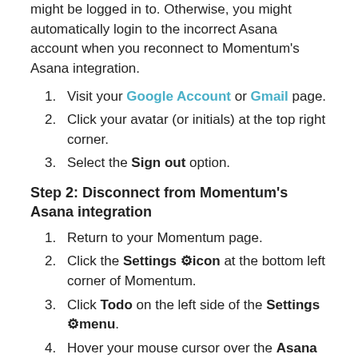might be logged in to. Otherwise, you might automatically login to the incorrect Asana account when you reconnect to Momentum's Asana integration.
1. Visit your Google Account or Gmail page.
2. Click your avatar (or initials) at the top right corner.
3. Select the Sign out option.
Step 2: Disconnect from Momentum's Asana integration
1. Return to your Momentum page.
2. Click the Settings ⚙icon at the bottom left corner of Momentum.
3. Click Todo on the left side of the Settings ⚙menu.
4. Hover your mouse cursor over the Asana option in the Integrations section and then click Disconnect.
Step 3: Reconnect to Momentum's Asana integration